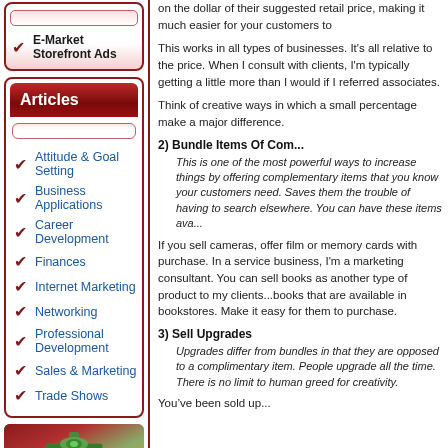E-Market Storefront Ads
Articles
Attitude & Goal Setting
Business Applications
Career Development
Finances
Internet Marketing
Networking
Professional Development
Sales & Marketing
Trade Shows
[Figure (illustration): Surprise gift box image with text 'Surprise']
on the dollar of their suggested retail price, making it much easier for your customers to justify the purchase.
This works in all types of businesses. It's all relative to the price. When I consult with clients, I'm typically getting a little more than I would if I referred associates.
Think of creative ways in which a small percentage make a major difference.
2) Bundle Items Of Com...
This is one of the most powerful ways to increase things by offering complementary items that you know your customers need. Saves them the trouble of having to search elsewhere. You can have these items ava...
If you sell cameras, offer film or memory cards with purchase. In a service business, I'm a marketing consultant. You can sell books as another type of product to my clients...books that are available in bookstores. Make it easy for them to purchase.
3) Sell Upgrades
Upgrades differ from bundles in that they are opposed to a complimentary item. People upgrade all the time. There is no limit to human greed for creativity.
You've been sold up...